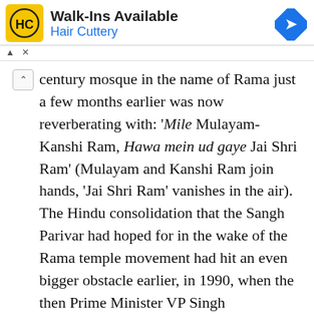[Figure (other): Advertisement banner for Hair Cuttery salon. Yellow square logo with 'HC' text, headline 'Walk-Ins Available', subtext 'Hair Cuttery' in blue, and a blue diamond navigation arrow icon on the right.]
century mosque in the name of Rama just a few months earlier was now reverberating with: 'Mile Mulayam-Kanshi Ram, Hawa mein ud gaye Jai Shri Ram' (Mulayam and Kanshi Ram join hands, 'Jai Shri Ram' vanishes in the air). The Hindu consolidation that the Sangh Parivar had hoped for in the wake of the Rama temple movement had hit an even bigger obstacle earlier, in 1990, when the then Prime Minister VP Singh implemented the Mandal Commission Report on reservations of Other Backward Classes. Suddenly, the Hindu votes the BJP was counting on were divided into Mandal and Kamandal, as it were.